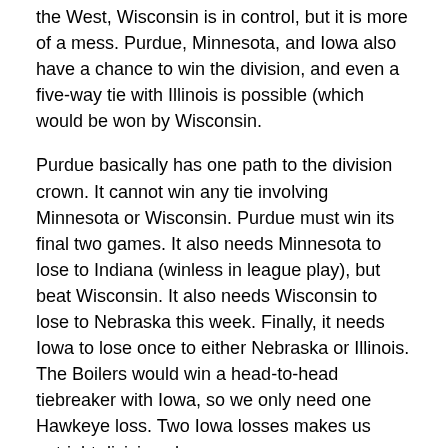the West, Wisconsin is in control, but it is more of a mess. Purdue, Minnesota, and Iowa also have a chance to win the division, and even a five-way tie with Illinois is possible (which would be won by Wisconsin.
Purdue basically has one path to the division crown. It cannot win any tie involving Minnesota or Wisconsin. Purdue must win its final two games. It also needs Minnesota to lose to Indiana (winless in league play), but beat Wisconsin. It also needs Wisconsin to lose to Nebraska this week. Finally, it needs Iowa to lose once to either Nebraska or Illinois. The Boilers would win a head-to-head tiebreaker with Iowa, so we only need one Hawkeye loss. Two Iowa losses makes us outright division champ.
So there is a chance.